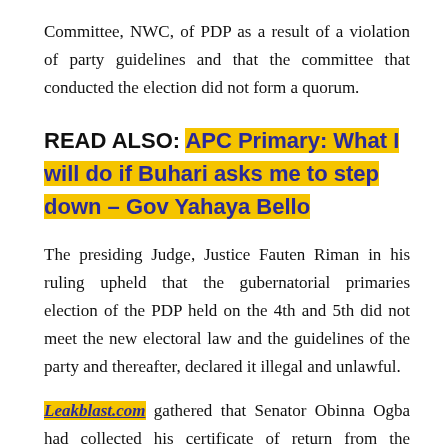Committee, NWC, of PDP as a result of a violation of party guidelines and that the committee that conducted the election did not form a quorum.
READ ALSO: APC Primary: What I will do if Buhari asks me to step down – Gov Yahaya Bello
The presiding Judge, Justice Fauten Riman in his ruling upheld that the gubernatorial primaries election of the PDP held on the 4th and 5th did not meet the new electoral law and the guidelines of the party and thereafter, declared it illegal and unlawful.
Leakblast.com gathered that Senator Obinna Ogba had collected his certificate of return from the national leadership